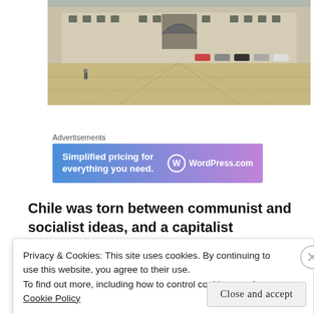[Figure (photo): Wide plaza in front of a large neoclassical government building (La Moneda palace, Chile), with a person walking in the foreground and cars parked near the building entrance.]
Advertisements
[Figure (infographic): WordPress.com advertisement banner with gradient blue-purple background reading: Simplified pricing for everything you need. WordPress.com logo on the right.]
Chile was torn between communist and socialist ideas, and a capitalist economic approach led by the military. l
Privacy & Cookies: This site uses cookies. By continuing to use this website, you agree to their use.
To find out more, including how to control cookies, see here: Cookie Policy
Close and accept